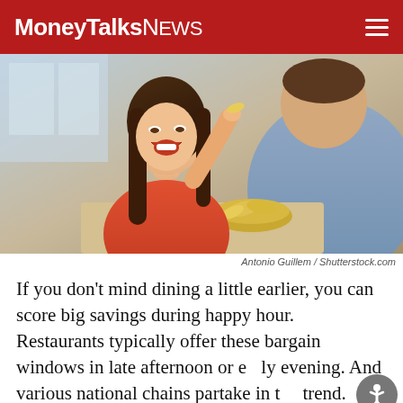MoneyTalksNews
[Figure (photo): A laughing woman in an orange top feeding a chip to a man sitting across from her at a restaurant table with drinks and a bowl of chips.]
Antonio Guillem / Shutterstock.com
If you don’t mind dining a little earlier, you can score big savings during happy hour. Restaurants typically offer these bargain windows in late afternoon or early evening. And various national chains partake in the trend.